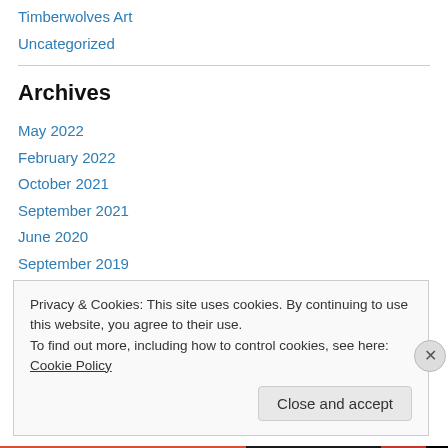Timberwolves Art
Uncategorized
Archives
May 2022
February 2022
October 2021
September 2021
June 2020
September 2019
September 2017
Privacy & Cookies: This site uses cookies. By continuing to use this website, you agree to their use. To find out more, including how to control cookies, see here: Cookie Policy
Close and accept